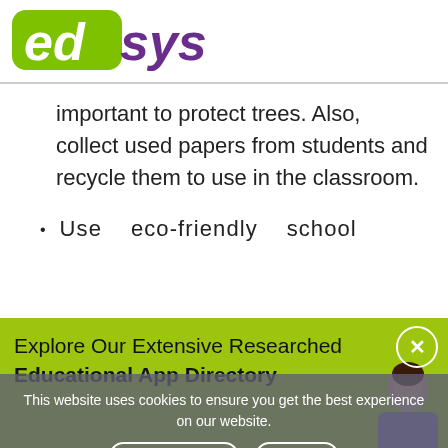[Figure (logo): edsys logo with green 'ed' and purple 'sys' text]
important to protect trees. Also, collect used papers from students and recycle them to use in the classroom.
Use eco-friendly school
[Figure (infographic): Green promotional banner with text: Explore Our Extensive Researched Educational App Directory, with a close button (x) and a person image]
Explore Our Extensive Researched Educational App Directory
This website uses cookies to ensure you get the best experience on our website.
Accept Cookies   Decline